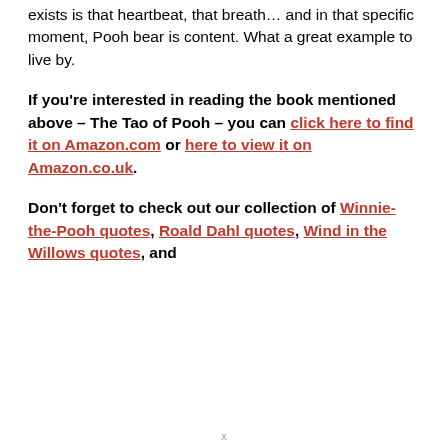exists is that heartbeat, that breath… and in that specific moment, Pooh bear is content. What a great example to live by.
If you're interested in reading the book mentioned above – The Tao of Pooh – you can click here to find it on Amazon.com or here to view it on Amazon.co.uk.
Don't forget to check out our collection of Winnie-the-Pooh quotes, Roald Dahl quotes, Wind in the Willows quotes, and
x